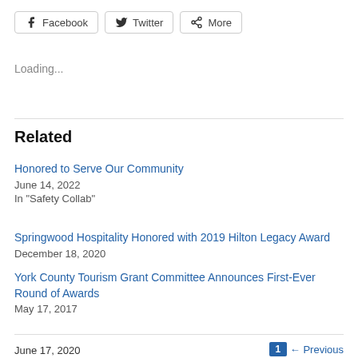[Figure (screenshot): Social sharing buttons: Facebook, Twitter, More]
Loading...
Related
Honored to Serve Our Community
June 14, 2022
In "Safety Collab"
Springwood Hospitality Honored with 2019 Hilton Legacy Award
December 18, 2020
York County Tourism Grant Committee Announces First-Ever Round of Awards
May 17, 2017
June 17, 2020